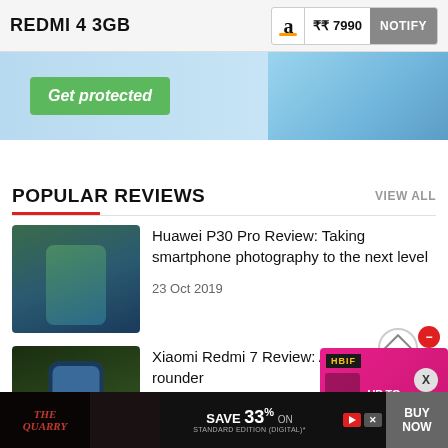REDMI 4 3GB | ₹₹ 7990 | NOTIFY
[Figure (photo): Ad banner with 'Get protected' green button on a light blue background]
POPULAR REVIEWS
VIEW ALL
[Figure (photo): Huawei P30 Pro phone photo showing teal/blue back]
Huawei P30 Pro Review: Taking smartphone photography to the next level
23 Oct 2019
[Figure (photo): Xiaomi Redmi 7 phone photo]
Xiaomi Redmi 7 Review: A go rounder
[Figure (infographic): Pink discount box overlay with cube icon, 'UP TO 70% OFF' text in yellow, HBIF label, and red close button]
[Figure (screenshot): Bottom ad banner: The Quarry game ad with 'SAVE 33% ON STANDARD EDITION (DIGITAL)' and BUY NOW button]